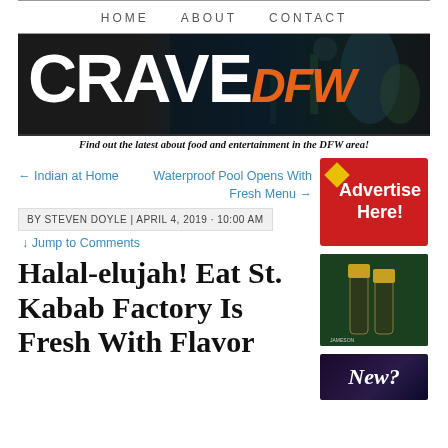HOME   ABOUT   CONTACT
[Figure (logo): CRAVE dfw banner logo with band in background and subtitle: Find out the latest about food and entertainment in the DFW area!]
← Indian at Home
Waterproof Pool Opens With Fresh Menu →
[Figure (other): Advertise Here! red ad banner with diamond icon]
BY STEVEN DOYLE | APRIL 4, 2019 · 10:00 AM
[Figure (photo): Jameson whiskey bottles advertisement on green background]
↓ Jump to Comments
[Figure (photo): New advertisement banner with purple/dark background]
Halal-elujah! Eat St. Kabab Factory Is Fresh With Flavor